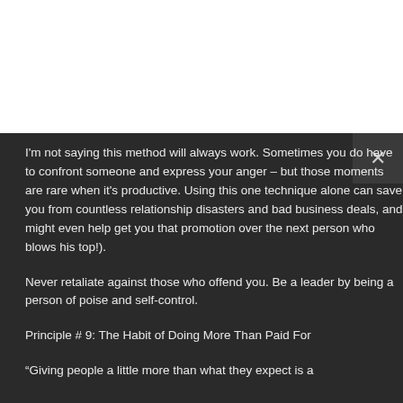I'm not saying this method will always work. Sometimes you do have to confront someone and express your anger – but those moments are rare when it's productive. Using this one technique alone can save you from countless relationship disasters and bad business deals, and might even help get you that promotion over the next person who blows his top!).
Never retaliate against those who offend you. Be a leader by being a person of poise and self-control.
Principle # 9: The Habit of Doing More Than Paid For
“Giving people a little more than what they expect is a